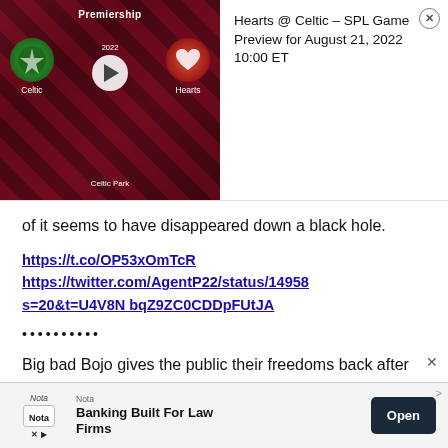[Figure (screenshot): Sports game preview card for Hearts @ Celtic - SPL on August 21, 2022 with Celtic and Hearts team badges, play button, and Celtic Park venue label]
Hearts @ Celtic – SPL Game Preview for August 21, 2022 10:00 ET
of it seems to have disappeared down a black hole.
https://t.co/OP53xOmTcR https://twitter.com/AgentP22/status/14958 s=20&t=U4V8N bqZ9ZC0CDDpFUtJA
..........
Big bad Bojo gives the public their freedoms back after the over the top lock downs. 🌟
[Figure (screenshot): Advertisement banner for Nota app - Banking Built For Law Firms with Open button]